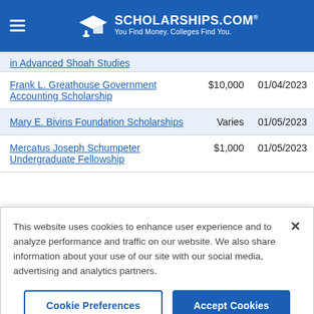SCHOLARSHIPS.COM — You Find Money. Colleges Find You.
| Scholarship Name | Amount | Deadline |
| --- | --- | --- |
| in Advanced Shoah Studies |  |  |
| Frank L. Greathouse Government Accounting Scholarship | $10,000 | 01/04/2023 |
| Mary E. Bivins Foundation Scholarships | Varies | 01/05/2023 |
| Mercatus Joseph Schumpeter Undergraduate Fellowship | $1,000 | 01/05/2023 |
This website uses cookies to enhance user experience and to analyze performance and traffic on our website. We also share information about your use of our site with our social media, advertising and analytics partners.